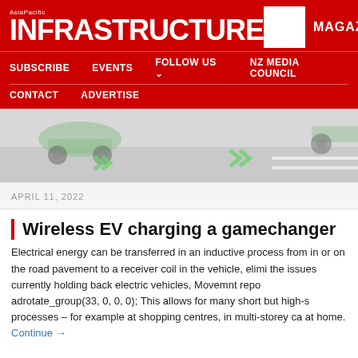AsiaPacific INFRASTRUCTURE — MAGAZINE — SUBSCRIBE  EVENTS  FOLLOW US  NZ MEDIA COUNCIL  CONTACT  ADVERTISE
[Figure (illustration): Hero image showing wireless EV charging concept with green electric vehicles on a road pavement, blurred/rendered 3D illustration]
APRIL 11, 2022
Wireless EV charging a gamechanger
Electrical energy can be transferred in an inductive process from in or on the road pavement to a receiver coil in the vehicle, elimi the issues currently holding back electric vehicles, Movemnt repo adrotate_group(33, 0, 0, 0); This allows for many short but high-s processes – for example at shopping centres, in multi-storey ca at home. Continue →